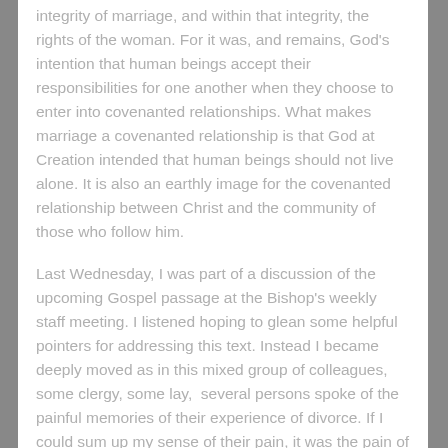integrity of marriage, and within that integrity, the rights of the woman. For it was, and remains, God's intention that human beings accept their responsibilities for one another when they choose to enter into covenanted relationships. What makes marriage a covenanted relationship is that God at Creation intended that human beings should not live alone. It is also an earthly image for the covenanted relationship between Christ and the community of those who follow him.
Last Wednesday, I was part of a discussion of the upcoming Gospel passage at the Bishop's weekly staff meeting. I listened hoping to glean some helpful pointers for addressing this text. Instead I became deeply moved as in this mixed group of colleagues, some clergy, some lay,  several persons spoke of the painful memories of their experience of divorce. If I could sum up my sense of their pain, it was the pain of the loss of innocence. The pain of the disillusionment at finding themselves unable to